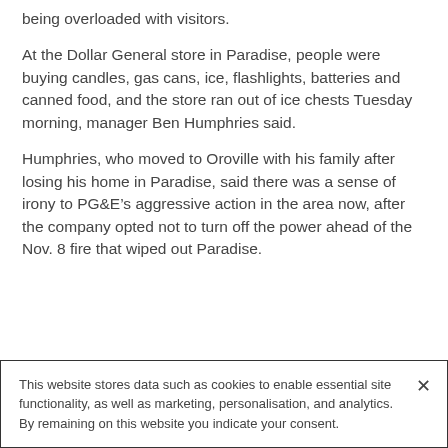being overloaded with visitors.
At the Dollar General store in Paradise, people were buying candles, gas cans, ice, flashlights, batteries and canned food, and the store ran out of ice chests Tuesday morning, manager Ben Humphries said.
Humphries, who moved to Oroville with his family after losing his home in Paradise, said there was a sense of irony to PG&E’s aggressive action in the area now, after the company opted not to turn off the power ahead of the Nov. 8 fire that wiped out Paradise.
This website stores data such as cookies to enable essential site functionality, as well as marketing, personalisation, and analytics. By remaining on this website you indicate your consent.